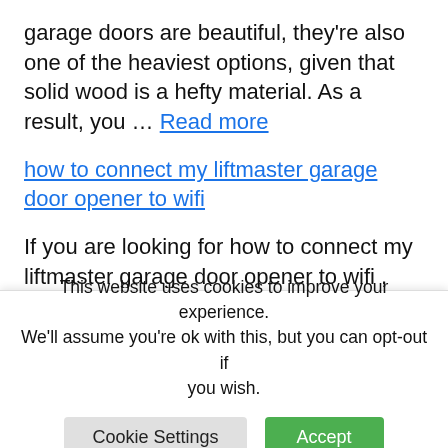garage doors are beautiful, they're also one of the heaviest options, given that solid wood is a hefty material. As a result, you ... Read more
how to connect my liftmaster garage door opener to wifi
If you are looking for how to connect my liftmaster garage door opener to wifi , simply check out our links below:
How to Set Up myQ | LiftMaster Learn...
This website uses cookies to improve your experience. We'll assume you're ok with this, but you can opt-out if you wish.